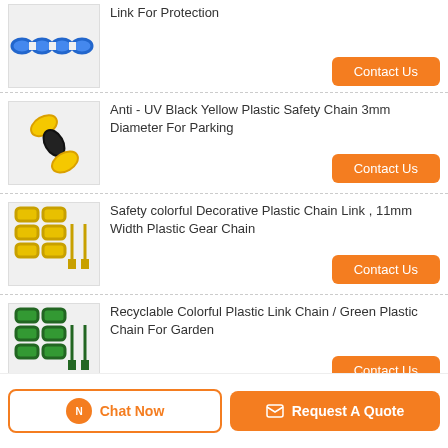[Figure (photo): Blue plastic chain links]
Link For Protection
Contact Us
[Figure (photo): Anti-UV black yellow plastic safety chain]
Anti - UV Black Yellow Plastic Safety Chain 3mm Diameter For Parking
Contact Us
[Figure (photo): Safety colorful decorative plastic chain links gold/yellow]
Safety colorful Decorative Plastic Chain Link , 11mm Width Plastic Gear Chain
Contact Us
[Figure (photo): Recyclable colorful green plastic link chain]
Recyclable Colorful Plastic Link Chain / Green Plastic Chain For Garden
Contact Us
[Figure (photo): Red and white plastic barrier chain link]
Red And White Plastic Chain , HDPE PP PE Plastic Barrier Chain Link
Contact Us
Chat Now
Request A Quote